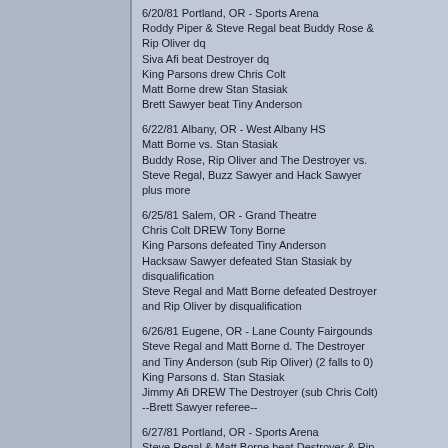6/20/81 Portland, OR - Sports Arena
Roddy Piper & Steve Regal beat Buddy Rose & Rip Oliver dq
Siva Afi beat Destroyer dq
King Parsons drew Chris Colt
Matt Borne drew Stan Stasiak
Brett Sawyer beat Tiny Anderson
6/22/81 Albany, OR - West Albany HS
Matt Borne vs. Stan Stasiak
Buddy Rose, Rip Oliver and The Destroyer vs. Steve Regal, Buzz Sawyer and Hack Sawyer plus more
6/25/81 Salem, OR - Grand Theatre
Chris Colt DREW Tony Borne
King Parsons defeated Tiny Anderson
Hacksaw Sawyer defeated Stan Stasiak by disqualification
Steve Regal and Matt Borne defeated Destroyer and Rip Oliver by disqualification
6/26/81 Eugene, OR - Lane County Fairgounds
Steve Regal and Matt Borne d. The Destroyer and Tiny Anderson (sub Rip Oliver) (2 falls to 0)
King Parsons d. Stan Stasiak
Jimmy Afi DREW The Destroyer (sub Chris Colt)
--Brett Sawyer referee--
6/27/81 Portland, OR - Sports Arena
Steve Regal & Matt Borne beat Destroyer & Rip Oliver
King Parsons beat Destroyer dq
Siva Afi beat Stan Stasiak dq
Brett Sawyer beat Tiny Anderson
Tony Borne drew Chris Colt